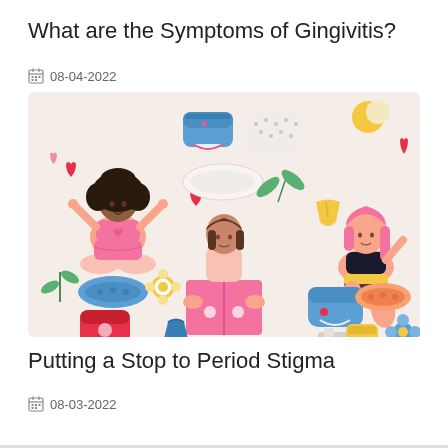What are the Symptoms of Gingivitis?
08-04-2022
[Figure (illustration): Colorful flat illustration showing three women and various period/menstrual hygiene products and icons including underwear, pads, menstrual cup, flowers, hearts, and a book. One woman meditates in lotus pose (left), one reads a pink book (center), and one sits in a relaxed pose (right). Background is light beige/pink.]
Putting a Stop to Period Stigma
08-03-2022